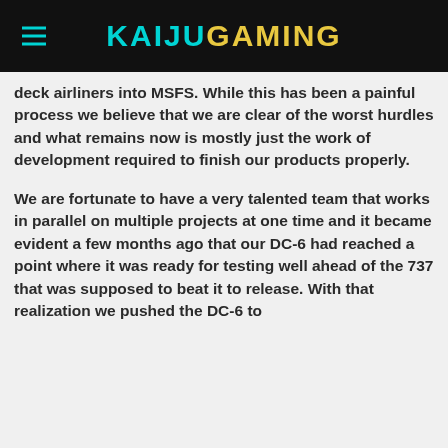KAIJUGAMING
deck airliners into MSFS. While this has been a painful process we believe that we are clear of the worst hurdles and what remains now is mostly just the work of development required to finish our products properly.
We are fortunate to have a very talented team that works in parallel on multiple projects at one time and it became evident a few months ago that our DC-6 had reached a point where it was ready for testing well ahead of the 737 that was supposed to beat it to release. With that realization we pushed the DC-6 to